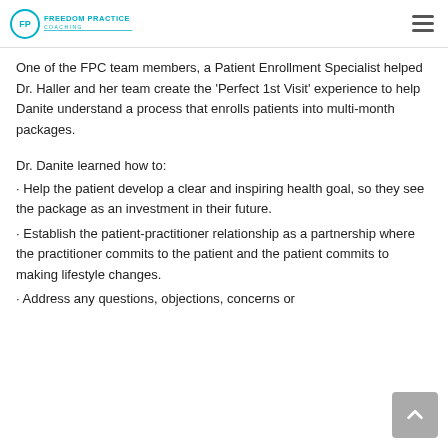Freedom Practice Coaching
One of the FPC team members, a Patient Enrollment Specialist helped Dr. Haller and her team create the 'Perfect 1st Visit' experience to help Danite understand a process that enrolls patients into multi-month packages.
Dr. Danite learned how to:
· Help the patient develop a clear and inspiring health goal, so they see the package as an investment in their future.
· Establish the patient-practitioner relationship as a partnership where the practitioner commits to the patient and the patient commits to making lifestyle changes.
· Address any questions, objections, concerns or